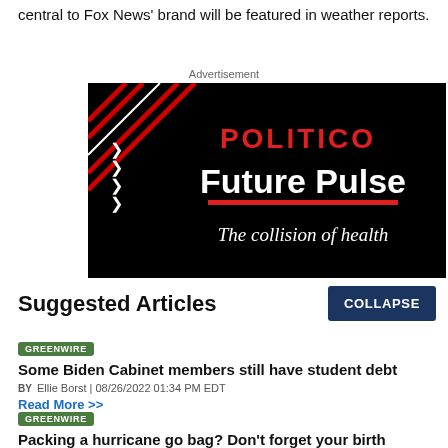central to Fox News' brand will be featured in weather reports.
Advertisement
[Figure (photo): POLITICO Future Pulse advertisement – black background with red POLITICO logo, white bold text 'Future Pulse', red underline, white italic text 'The collision of health']
Suggested Articles
COLLAPSE
GREENWIRE
Some Biden Cabinet members still have student debt
BY Ellie Borst | 08/26/2022 01:34 PM EDT
Read More >>
GREENWIRE
Packing a hurricane go bag? Don't forget your birth control.